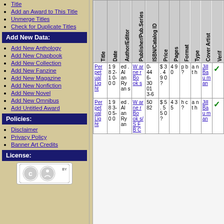Title
Add an Award to This Title
Unmerge Titles
Check for Duplicate Titles
Add New Data:
Add New Anthology
Add New Chapbook
Add New Collection
Add New Fanzine
Add New Magazine
Add New Nonfiction
Add New Novel
Add New Omnibus
Add Untitled Award
Policies:
Disclaimer
Privacy Policy
Banner Art Credits
License:
[Figure (logo): Creative Commons BY license logo]
| Title | Date | Author/Editor | Publisher/Pub.Series | ISBN/Catalog ID | Price | Pages | Format | Type | Cover Artist | Verif |
| --- | --- | --- | --- | --- | --- | --- | --- | --- | --- | --- |
| Perpetual Light | 1982-10-00 | ed. Alan Ryans | Warner Books | 0-446-30013-6 | $3.490? | 490 | pb? | anth | Jill Bauman | ✓ |
| Perpetual Light | 1983-05-00 | ed. Alan Ryan | Warner Books/SFBC | 5082 | $5.550? | 435 | hc? | anth | Jill Bauman | ✓ |